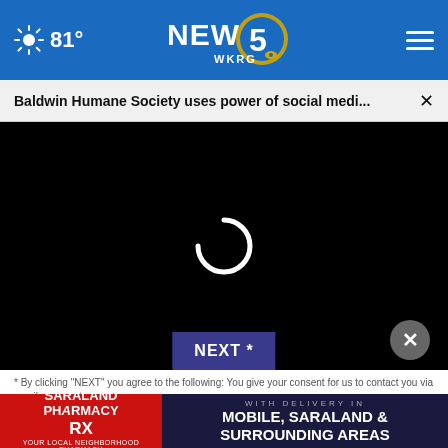81° NEWS 5 WKRG
Baldwin Humane Society uses power of social medi... ×
[Figure (screenshot): Black video player area with loading spinner (circular arc) in the center, NEXT * button at the bottom center, and a dark circle close button at the bottom right]
* By clicking "NEXT" you agree to the following: You give your consent for us to contact you via email or via automated re...
[Figure (infographic): Advertisement banner: left side red background reading SARALAND PHARMACY YOUR LOCAL NEIGHBORHOOD PHARMACY, right side dark background reading WITH DELIVERY IN MOBILE, SARALAND & SURROUNDING AREAS]